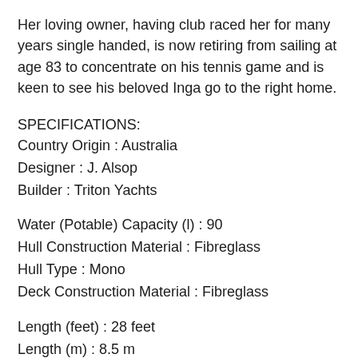Her loving owner, having club raced her for many years single handed, is now retiring from sailing at age 83 to concentrate on his tennis game and is keen to see his beloved Inga go to the right home.
SPECIFICATIONS:
Country Origin : Australia
Designer : J. Alsop
Builder : Triton Yachts
Water (Potable) Capacity (l) : 90
Hull Construction Material : Fibreglass
Hull Type : Mono
Deck Construction Material : Fibreglass
Length (feet) : 28 feet
Length (m) : 8.5 m
Length Waterline (m) : 6.7 m
Beam/Width (feet) : 9.25 feet